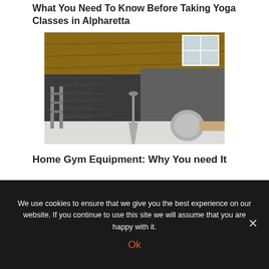What You Need To Know Before Taking Yoga Classes in Alpharetta
[Figure (photo): Interior of a home gym or attic space with dark brick walls, wooden ceiling beams, a skylight, and some gym equipment including what appears to be a weight or ball on the floor.]
Home Gym Equipment: Why You need It
We use cookies to ensure that we give you the best experience on our website. If you continue to use this site we will assume that you are happy with it.
Ok